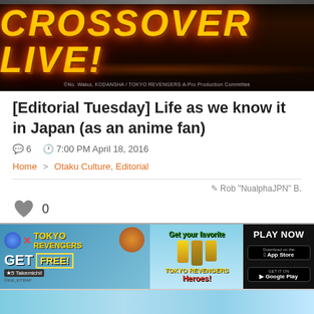[Figure (screenshot): Crossover Live! promotional banner with golden stylized text on dark background with copyright text at bottom]
[Editorial Tuesday] Life as we know it in Japan (as an anime fan)
6   7:00 PM April 18, 2016
Home > Otaku Culture, Editorial
Rob "NualphaJPN" B.
0
[Figure (screenshot): Tokyo Revengers game advertisement banner with Play Now button and App Store / Google Play download buttons]